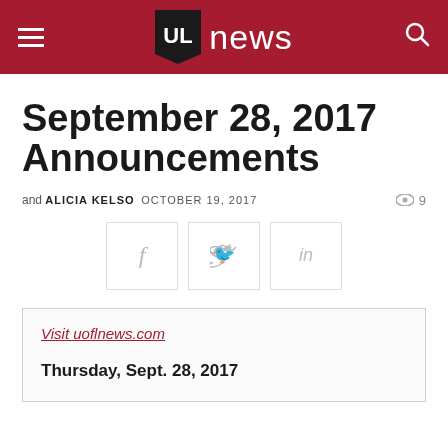UL news
September 28, 2017 Announcements
and ALICIA KELSO  OCTOBER 19, 2017   9
[Figure (other): Social media share buttons: Facebook (f), Twitter (bird), LinkedIn (in)]
Visit uoflnews.com
Thursday, Sept. 28, 2017